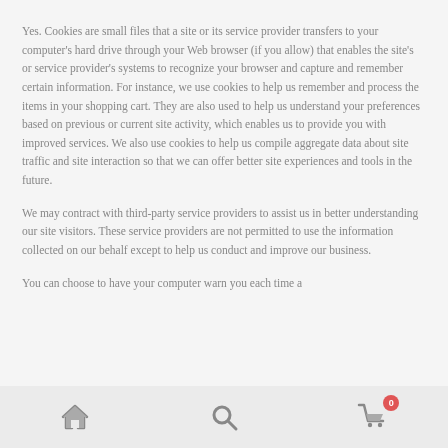Yes. Cookies are small files that a site or its service provider transfers to your computer's hard drive through your Web browser (if you allow) that enables the site's or service provider's systems to recognize your browser and capture and remember certain information. For instance, we use cookies to help us remember and process the items in your shopping cart. They are also used to help us understand your preferences based on previous or current site activity, which enables us to provide you with improved services. We also use cookies to help us compile aggregate data about site traffic and site interaction so that we can offer better site experiences and tools in the future.
We may contract with third-party service providers to assist us in better understanding our site visitors. These service providers are not permitted to use the information collected on our behalf except to help us conduct and improve our business.
You can choose to have your computer warn you each time a
Home | Search | Cart (0)